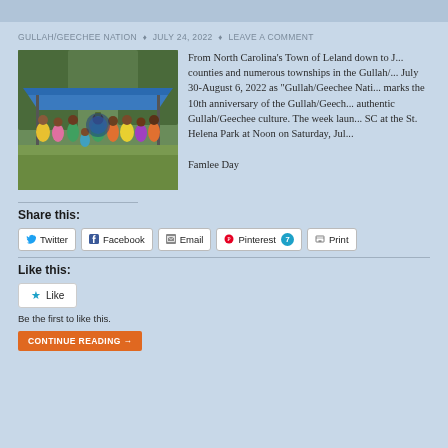GULLAH/GEECHEE NATION ♦ JULY 24, 2022 ♦ LEAVE A COMMENT
[Figure (photo): Group of people in colorful attire standing under a blue tent canopy outdoors]
From North Carolina's Town of Leland down to J... counties and numerous townships in the Gullah/... July 30-August 6, 2022 as "Gullah/Geechee Nati... marks the 10th anniversary of the Gullah/Geech... authentic Gullah/Geechee culture. The week laun... SC at the St. Helena Park at Noon on Saturday, Jul... Famlee Day
Share this:
Twitter
Facebook
Email
Pinterest 7
Print
Like this:
Like
Be the first to like this.
CONTINUE READING →